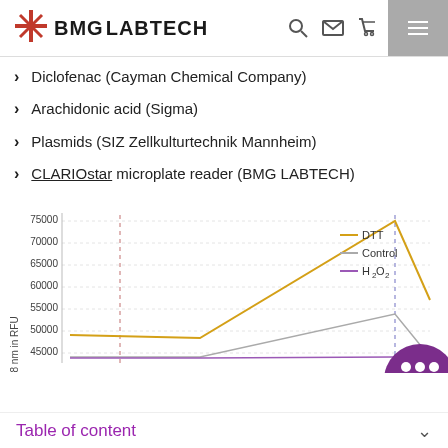BMG LABTECH
Diclofenac (Cayman Chemical Company)
Arachidonic acid (Sigma)
Plasmids (SIZ Zellkulturtechnik Mannheim)
CLARIOstar microplate reader (BMG LABTECH)
[Figure (line-chart): ]
Table of content